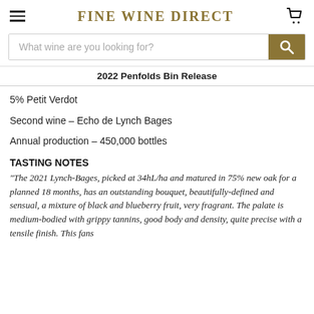FINE WINE DIRECT
[Figure (screenshot): Search bar with placeholder text 'What wine are you looking for?' and a gold search button]
2022 Penfolds Bin Release
5% Petit Verdot
Second wine – Echo de Lynch Bages
Annual production – 450,000 bottles
TASTING NOTES
"The 2021 Lynch-Bages, picked at 34hL/ha and matured in 75% new oak for a planned 18 months, has an outstanding bouquet, beautifully-defined and sensual, a mixture of black and blueberry fruit, very fragrant. The palate is medium-bodied with grippy tannins, good body and density, quite precise with a tensile finish. This fans